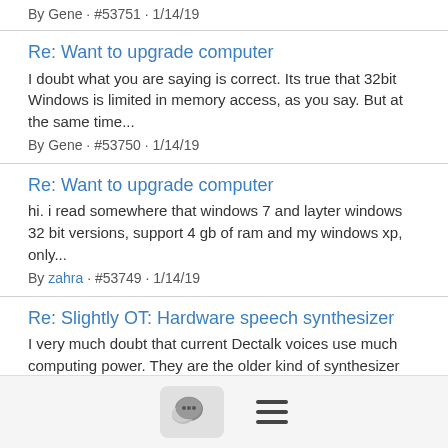By Gene · #53751 · 1/14/19
Re: Want to upgrade computer
I doubt what you are saying is correct. Its true that 32bit Windows is limited in memory access, as you say. But at the same time...
By Gene · #53750 · 1/14/19
Re: Want to upgrade computer
hi. i read somewhere that windows 7 and layter windows 32 bit versions, support 4 gb of ram and my windows xp, only...
By zahra · #53749 · 1/14/19
Re: Slightly OT: Hardware speech synthesizer
I very much doubt that current Dectalk voices use much computing power. They are the older kind of synthesizer and...
By Gene · #53748 · 1/14/19
Re: Want to upgrade computer
If you have a 32-bit version of Windows (no matter whether the machine's hardware is 32- or 64-bit) then it will not use more
[Figure (other): Bottom navigation bar with chat bubble icon button and hamburger menu icon]